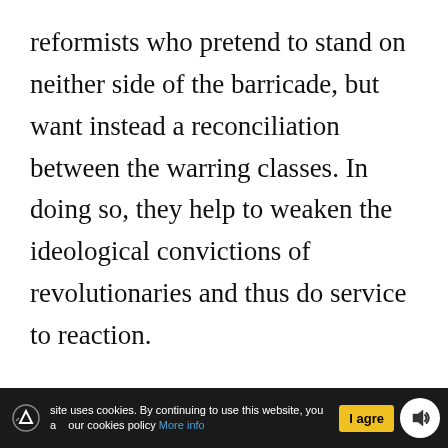reformists who pretend to stand on neither side of the barricade, but want instead a reconciliation between the warring classes. In doing so, they help to weaken the ideological convictions of revolutionaries and thus do service to reaction.
Study Questions:
1. Blei denies the meaning and validity of all sociology and economics on th
site uses cookies. By continuing to use this website, you our cookies policy More info